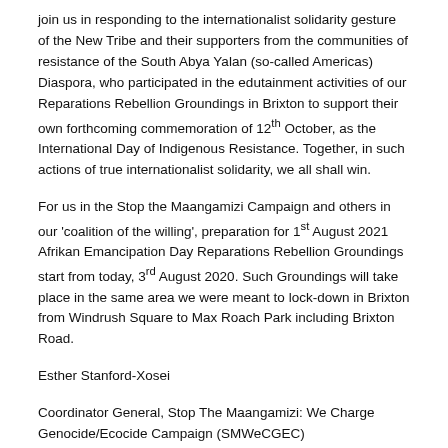join us in responding to the internationalist solidarity gesture of the New Tribe and their supporters from the communities of resistance of the South Abya Yalan (so-called Americas) Diaspora, who participated in the edutainment activities of our Reparations Rebellion Groundings in Brixton to support their own forthcoming commemoration of 12th October, as the International Day of Indigenous Resistance. Together, in such actions of true internationalist solidarity, we all shall win.
For us in the Stop the Maangamizi Campaign and others in our 'coalition of the willing', preparation for 1st August 2021 Afrikan Emancipation Day Reparations Rebellion Groundings start from today, 3rd August 2020. Such Groundings will take place in the same area we were meant to lock-down in Brixton from Windrush Square to Max Roach Park including Brixton Road.
Esther Stanford-Xosei
Coordinator General, Stop The Maangamizi: We Charge Genocide/Ecocide Campaign (SMWeCGEC)